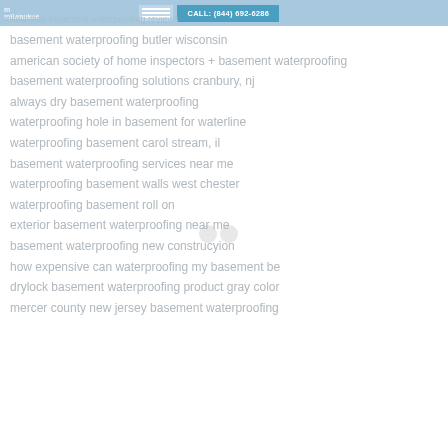CALL: (844) 692-6286
milwaukee basement waterproofing reviews
basement waterproofing butler wisconsin
american society of home inspectors + basement waterproofing
basement waterproofing solutions cranbury, nj
always dry basement waterproofing
waterproofing hole in basement for waterline
waterproofing basement carol stream, il
basement waterproofing services near me
waterproofing basement walls west chester
waterproofing basement roll on
exterior basement waterproofing near me
basement waterproofing new construcyion
how expensive can waterproofing my basement be
drylock basement waterproofing product gray color
mercer county new jersey basement waterproofing